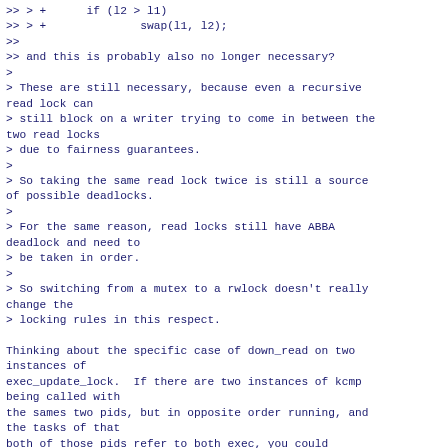>> > +      if (l2 > l1)
>> > +              swap(l1, l2);
>>
>> and this is probably also no longer necessary?
>
> These are still necessary, because even a recursive read lock can
> still block on a writer trying to come in between the two read locks
> due to fairness guarantees.
>
> So taking the same read lock twice is still a source of possible deadlocks.
>
> For the same reason, read locks still have ABBA deadlock and need to
> be taken in order.
>
> So switching from a mutex to a rwlock doesn't really change the
> locking rules in this respect.

Thinking about the specific case of down_read on two instances of
exec_update_lock.  If there are two instances of kcmp being called with
the sames two pids, but in opposite order running, and the tasks of that
both of those pids refer to both exec, you could
definitely got a